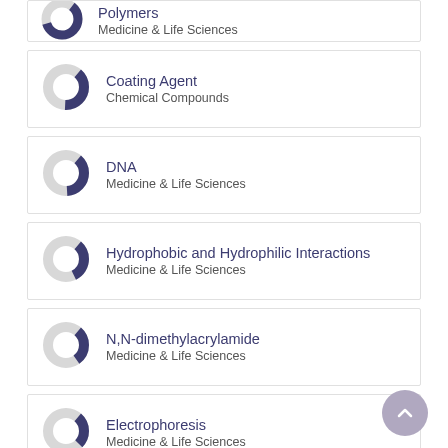[Figure (donut-chart): Partial donut chart showing polymers concept, purple fill approximately 60%]
Polymers
Medicine & Life Sciences
[Figure (donut-chart): Partial donut chart showing Coating Agent concept, purple fill approximately 40%]
Coating Agent
Chemical Compounds
[Figure (donut-chart): Partial donut chart showing DNA concept, purple fill approximately 40%]
DNA
Medicine & Life Sciences
[Figure (donut-chart): Partial donut chart showing Hydrophobic and Hydrophilic Interactions, purple fill approximately 30%]
Hydrophobic and Hydrophilic Interactions
Medicine & Life Sciences
[Figure (donut-chart): Partial donut chart showing N,N-dimethylacrylamide concept, purple fill approximately 28%]
N,N-dimethylacrylamide
Medicine & Life Sciences
[Figure (donut-chart): Partial donut chart showing Electrophoresis concept, purple fill approximately 25%]
Electrophoresis
Medicine & Life Sciences
View full fingerprint ›